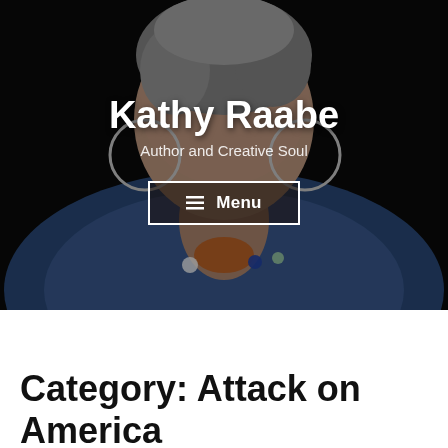[Figure (photo): Hero banner with a woman with short gray hair wearing a blue patterned top and colorful necklace with large hoop earrings, against a dark background. Overlay text shows site name and subtitle.]
Kathy Raabe
Author and Creative Soul
≡  Menu
Category: Attack on America